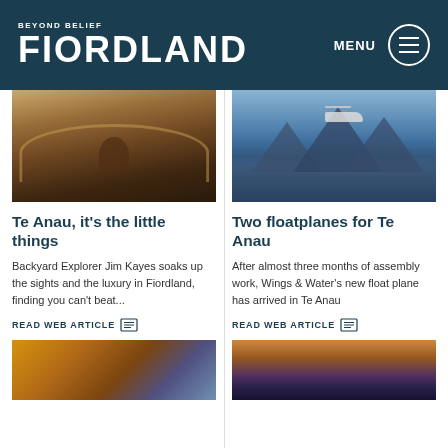BEYOND BELIEF FIORDLAND | MENU
[Figure (photo): Woman relaxing in a wooden hot tub outdoors]
Te Anau, it's the little things
Backyard Explorer Jim Kayes soaks up the sights and the luxury in Fiordland, finding you can't beat...
READ WEB ARTICLE
[Figure (photo): Floatplane flying over mountain lake landscape]
Two floatplanes for Te Anau
After almost three months of assembly work, Wings & Water's new float plane has arrived in Te Anau
READ WEB ARTICLE
[Figure (photo): Bottom-left teaser image, partially visible]
[Figure (photo): Bottom-right teaser image, partially visible]